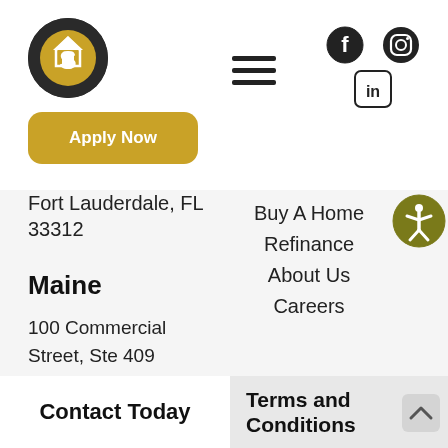[Figure (logo): Dark circular logo with gold inner circle and house/shield icon]
[Figure (other): Hamburger menu icon (three horizontal lines)]
[Figure (other): Social media icons: Facebook, Instagram, LinkedIn]
Apply Now
Fort Lauderdale, FL 33312
Buy A Home
Refinance
About Us
Careers
Maine
100 Commercial Street, Ste 409 Portland, ME 04101
Contact Today
Terms and Conditions